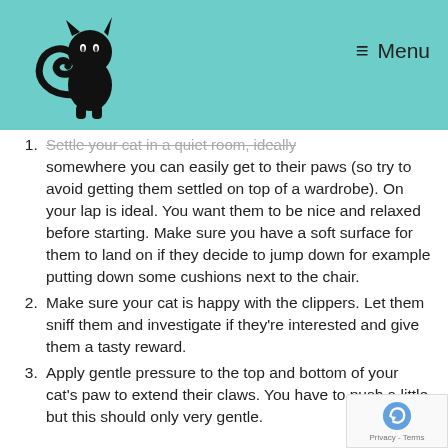Menu
Settle your cat in a quiet room, ideally somewhere you can easily get to their paws (so try to avoid getting them settled on top of a wardrobe). On your lap is ideal. You want them to be nice and relaxed before starting. Make sure you have a soft surface for them to land on if they decide to jump down for example putting down some cushions next to the chair.
Make sure your cat is happy with the clippers. Let them sniff them and investigate if they're interested and give them a tasty reward.
Apply gentle pressure to the top and bottom of your cat's paw to extend their claws. You have to push a little but this should only very gentle.